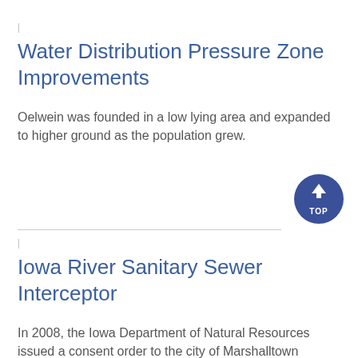Water Distribution Pressure Zone Improvements
Oelwein was founded in a low lying area and expanded to higher ground as the population grew.
Iowa River Sanitary Sewer Interceptor
In 2008, the Iowa Department of Natural Resources issued a consent order to the city of Marshalltown requiring elimination of sanitary sewer overflows and basement backups for at least the 5-year storm event.